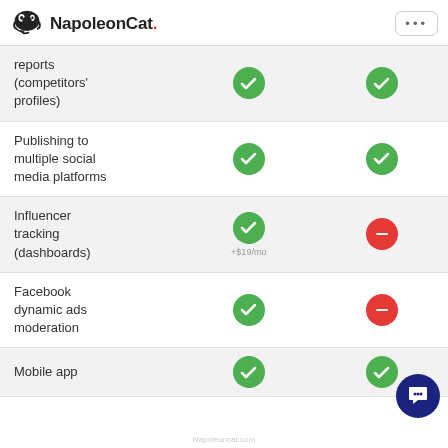NapoleonCat.
| Feature | Plan A | Plan B |
| --- | --- | --- |
| reports (competitors' profiles) | ✓ | ✓ |
| Publishing to multiple social media platforms | ✓ | ✓ |
| Influencer tracking (dashboards) | ✓ +$19/mo | ✗ |
| Facebook dynamic ads moderation | ✓ | ✗ |
| Mobile app | ✓ | ✓ |